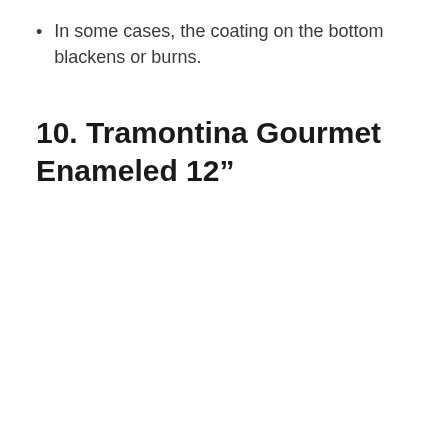In some cases, the coating on the bottom blackens or burns.
10. Tramontina Gourmet Enameled 12”